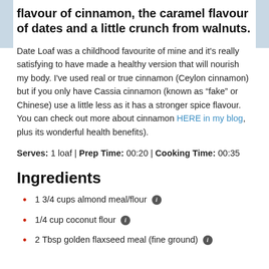flavour of cinnamon, the caramel flavour of dates and a little crunch from walnuts.
Date Loaf was a childhood favourite of mine and it's really satisfying to have made a healthy version that will nourish my body. I've used real or true cinnamon (Ceylon cinnamon) but if you only have Cassia cinnamon (known as “fake” or Chinese) use a little less as it has a stronger spice flavour. You can check out more about cinnamon HERE in my blog, plus its wonderful health benefits).
Serves: 1 loaf | Prep Time: 00:20 | Cooking Time: 00:35
Ingredients
1 3/4 cups almond meal/flour ⓘ
1/4 cup coconut flour ⓘ
2 Tbsp golden flaxseed meal (fine ground) ⓘ